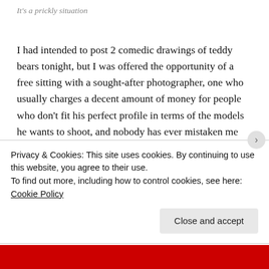It's a prickly situation
I had intended to post 2 comedic drawings of teddy bears tonight, but I was offered the opportunity of a free sitting with a sought-after photographer, one who usually charges a decent amount of money for people who don't fit his perfect profile in terms of the models he wants to shoot, and nobody has ever mistaken me for a professional model, so in the interest of feeding my midlife crisis, I decided to do that instead of work, and now it's after midnight and there's no time or headspace to finish my weird teddy bears, so here, have a mandala
Privacy & Cookies: This site uses cookies. By continuing to use this website, you agree to their use.
To find out more, including how to control cookies, see here: Cookie Policy
Close and accept